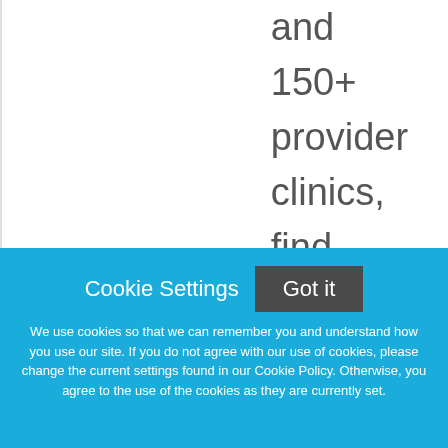and 150+ provider clinics, find your ideal role in amazing places
Cookie Settings  Got it
We use cookies so that we can remember you and understand how you use our site. If you do not agree with our use of cookies, please change the current settings found in our Cookie Policy. Otherwise, you agree to the use of the cookies as they are currently set.